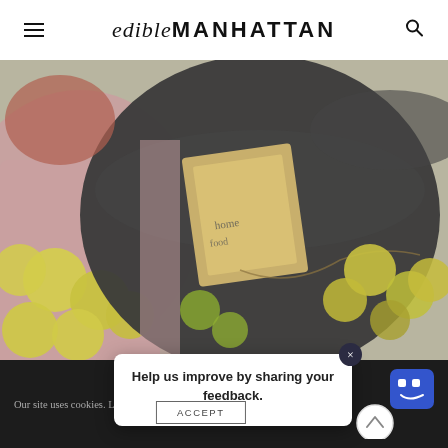edibleMANHATTAN
[Figure (photo): Close-up photo of yellow-green apples in pink/mauve baskets and a dark round container, with a handwritten paper bag label visible in the center.]
Our site uses cookies. Learn more about our use of cookies: cookie policy
Help us improve by sharing your feedback.
ACCEPT